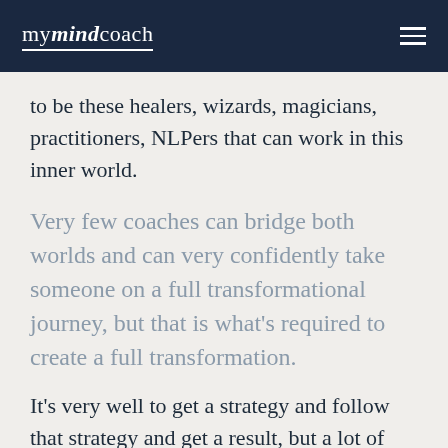mymindcoach
to be these healers, wizards, magicians, practitioners, NLPers that can work in this inner world.
Very few coaches can bridge both worlds and can very confidently take someone on a full transformational journey, but that is what’s required to create a full transformation.
It’s very well to get a strategy and follow that strategy and get a result, but a lot of